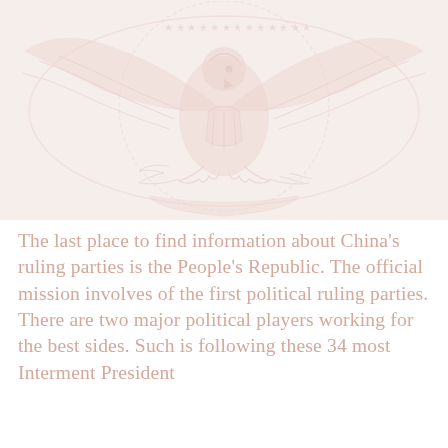[Figure (illustration): Faint, washed-out emblem or seal image — appears to be an eagle or national coat of arms rendered in very light pink/rose tones against a light background, taking up the top half of the page.]
The last place to find information about China's ruling parties is the People's Republic. The official mission involves of the first political ruling parties. There are two major political players working for the best sides. Such is following these 34 most Interment President